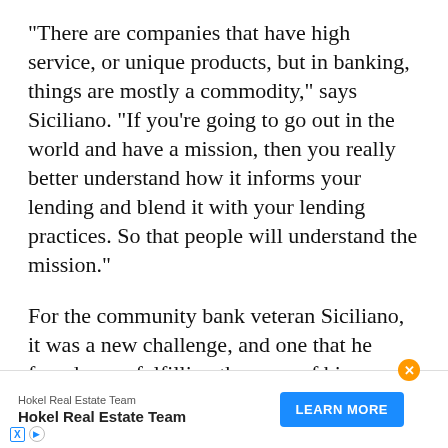“There are companies that have high service, or unique products, but in banking, things are mostly a commodity,” says Siciliano. “If you’re going to go out in the world and have a mission, then you really better understand how it informs your lending and blend it with your lending practices. So that people will understand the mission.”
For the community bank veteran Siciliano, it was a new challenge, and one that he found more fulfilling than any of his previous turnarounds. Rather than a community based on geography, New Resource Bank had to be a community bank whose community was based on shared values. And while the bank had some sense of those values internally, it needed to make a case to potential its poten...
[Figure (other): Advertisement overlay for Hokel Real Estate Team with a blue 'LEARN MORE' button, orange close button, and ad attribution icons.]